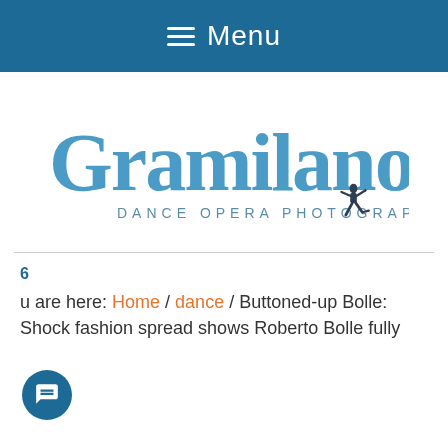≡ Menu
[Figure (logo): Gramilano logo with text 'DANCE OPERA PHOTOGRAPHY' and a silhouette dancer figure]
6
You are here: Home / dance / Buttoned-up Bolle: Shock fashion spread shows Roberto Bolle fully